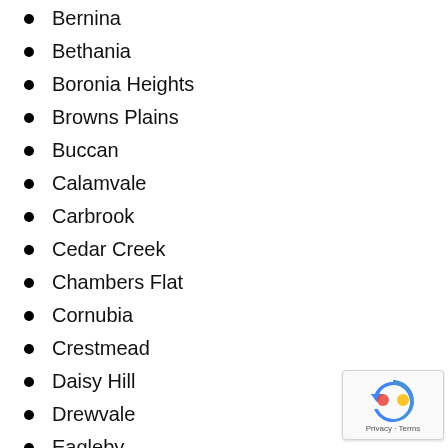Bernina
Bethania
Boronia Heights
Browns Plains
Buccan
Calamvale
Carbrook
Cedar Creek
Chambers Flat
Cornubia
Crestmead
Daisy Hill
Drewvale
Eagleby
Edens Landing
Forestdale